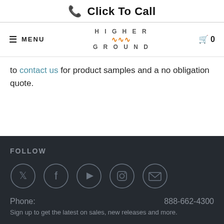Click To Call
[Figure (screenshot): Navigation bar with hamburger menu (MENU), Higher Ground logo, and cart icon with 0]
to contact us for product samples and a no obligation quote.
FOLLOW
[Figure (infographic): Five social media icons in circles: Twitter, Facebook, YouTube, Instagram, Email]
Phone: 888-662-4300
Sign up to get the latest on sales, new releases and more.